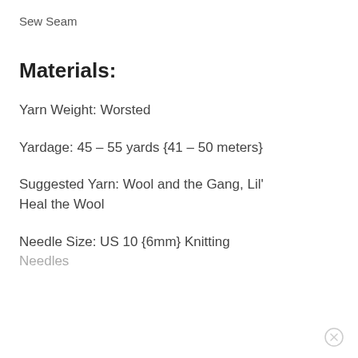Sew Seam
Materials:
Yarn Weight: Worsted
Yardage: 45 – 55 yards {41 – 50 meters}
Suggested Yarn: Wool and the Gang, Lil' Heal the Wool
Needle Size: US 10 {6mm} Knitting Needles